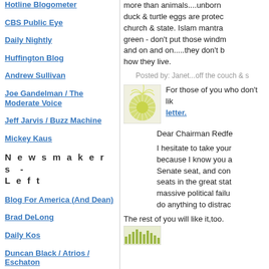Hotline Blogometer
CBS Public Eye
Daily Nightly
Huffington Blog
Andrew Sullivan
Joe Gandelman / The Moderate Voice
Jeff Jarvis / Buzz Machine
Mickey Kaus
N e w s m a k e r s  -  L e f t
Blog For America (And Dean)
Brad DeLong
Daily Kos
Duncan Black / Atrios / Eschaton
Jeralyn Merritt / TalkLeft
Josh Marshall / Talking Points
Kevin Drum / Mother Jones
more than animals....unborn duck & turtle eggs are protected church & state. Islam mantra green - don't put those windm and on and on.....they don't b how they live.
Posted by: Janet...off the couch & s
[Figure (illustration): Green starburst/sunburst illustration in a square frame]
For those of you who don't like it, letter.
Dear Chairman Redfe
I hesitate to take your because I know you are Senate seat, and cond seats in the great state massive political failur do anything to distract
The rest of you will like it,too.
[Figure (illustration): Small green textured illustration at bottom]